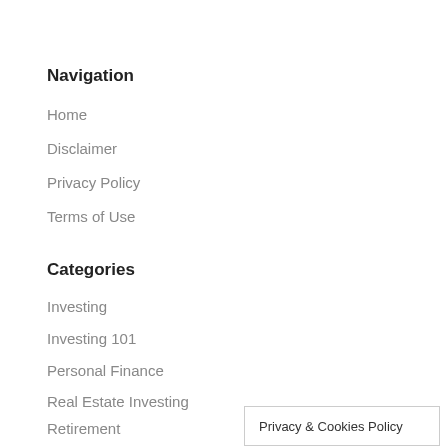Navigation
Home
Disclaimer
Privacy Policy
Terms of Use
Categories
Investing
Investing 101
Personal Finance
Real Estate Investing
Retirement
Stock Market
Privacy & Cookies Policy